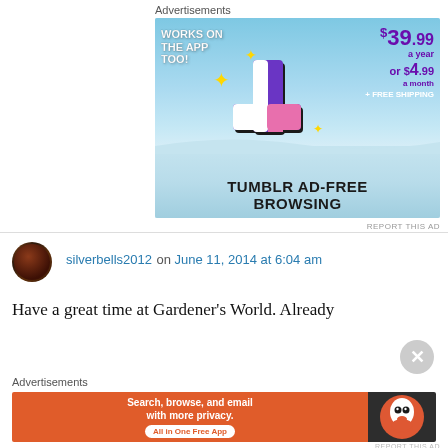Advertisements
[Figure (illustration): Tumblr Ad-Free Browsing advertisement banner with blue sky background, Tumblr 't' logo, price of $39.99 a year or $4.99 a month plus free shipping, and text 'Works on the App Too!']
REPORT THIS AD
silverbells2012 on June 11, 2014 at 6:04 am
Have a great time at Gardener's World. Already
Advertisements
[Figure (illustration): DuckDuckGo advertisement: Search, browse, and email with more privacy. All in One Free App. DuckDuckGo logo on dark background.]